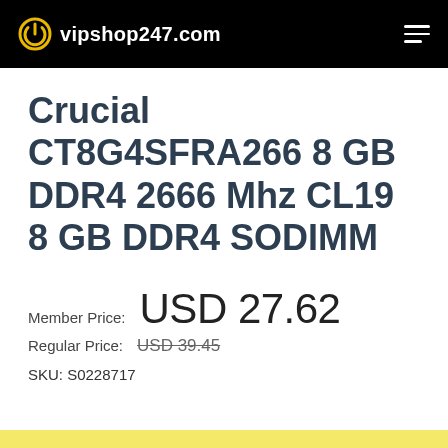vipshop247.com
Crucial CT8G4SFRA266 8 GB DDR4 2666 Mhz CL19 8 GB DDR4 SODIMM
Member Price: USD 27.62
Regular Price: USD 39.45
SKU: S0228717